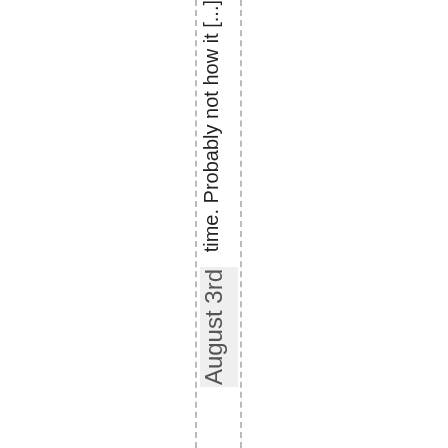time. Probably not how it [...]
August 3rd